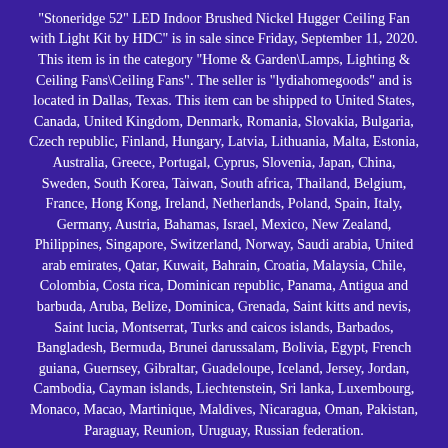"Stoneridge 52" LED Indoor Brushed Nickel Hugger Ceiling Fan with Light Kit by HDC" is in sale since Friday, September 11, 2020. This item is in the category "Home & Garden\Lamps, Lighting & Ceiling Fans\Ceiling Fans". The seller is "lydiahomegoods" and is located in Dallas, Texas. This item can be shipped to United States, Canada, United Kingdom, Denmark, Romania, Slovakia, Bulgaria, Czech republic, Finland, Hungary, Latvia, Lithuania, Malta, Estonia, Australia, Greece, Portugal, Cyprus, Slovenia, Japan, China, Sweden, South Korea, Taiwan, South africa, Thailand, Belgium, France, Hong Kong, Ireland, Netherlands, Poland, Spain, Italy, Germany, Austria, Bahamas, Israel, Mexico, New Zealand, Philippines, Singapore, Switzerland, Norway, Saudi arabia, United arab emirates, Qatar, Kuwait, Bahrain, Croatia, Malaysia, Chile, Colombia, Costa rica, Dominican republic, Panama, Antigua and barbuda, Aruba, Belize, Dominica, Grenada, Saint kitts and nevis, Saint lucia, Montserrat, Turks and caicos islands, Barbados, Bangladesh, Bermuda, Brunei darussalam, Bolivia, Egypt, French guiana, Guernsey, Gibraltar, Guadeloupe, Iceland, Jersey, Jordan, Cambodia, Cayman islands, Liechtenstein, Sri lanka, Luxembourg, Monaco, Macao, Martinique, Maldives, Nicaragua, Oman, Pakistan, Paraguay, Reunion, Uruguay, Russian federation.